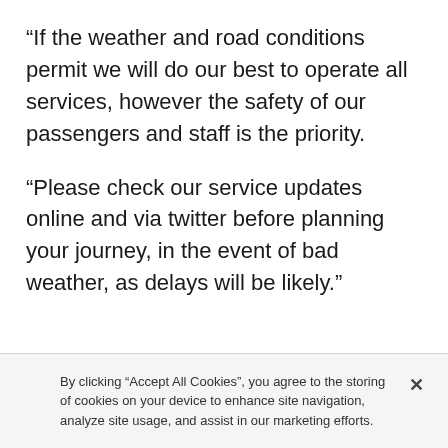“If the weather and road conditions permit we will do our best to operate all services, however the safety of our passengers and staff is the priority.
“Please check our service updates online and via twitter before planning your journey, in the event of bad weather, as delays will be likely.”
By clicking “Accept All Cookies”, you agree to the storing of cookies on your device to enhance site navigation, analyze site usage, and assist in our marketing efforts.